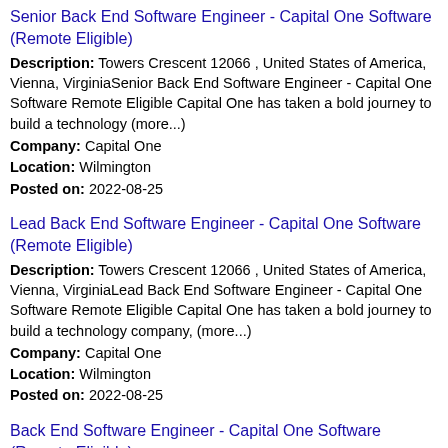Senior Back End Software Engineer - Capital One Software (Remote Eligible)
Description: Towers Crescent 12066 , United States of America, Vienna, VirginiaSenior Back End Software Engineer - Capital One Software Remote Eligible Capital One has taken a bold journey to build a technology (more...)
Company: Capital One
Location: Wilmington
Posted on: 2022-08-25
Lead Back End Software Engineer - Capital One Software (Remote Eligible)
Description: Towers Crescent 12066 , United States of America, Vienna, VirginiaLead Back End Software Engineer - Capital One Software Remote Eligible Capital One has taken a bold journey to build a technology company, (more...)
Company: Capital One
Location: Wilmington
Posted on: 2022-08-25
Back End Software Engineer - Capital One Software (Remote Eligible)
Description: Towers Crescent 12066 , United States of America, Vienna, VirginiaBack End Software Engineer - Capital One Software Remote Eligible Capital One has taken a bold journey to build a technology company, (more...)
Company: Capital One